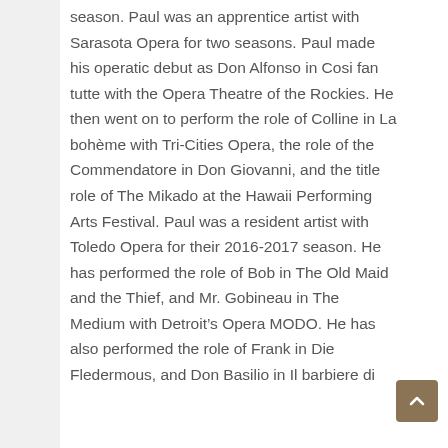season. Paul was an apprentice artist with Sarasota Opera for two seasons. Paul made his operatic debut as Don Alfonso in Cosi fan tutte with the Opera Theatre of the Rockies. He then went on to perform the role of Colline in La bohème with Tri-Cities Opera, the role of the Commendatore in Don Giovanni, and the title role of The Mikado at the Hawaii Performing Arts Festival. Paul was a resident artist with Toledo Opera for their 2016-2017 season. He has performed the role of Bob in The Old Maid and the Thief, and Mr. Gobineau in The Medium with Detroit's Opera MODO. He has also performed the role of Frank inDie Fledermous, and Don Basilio in Il barbiere di